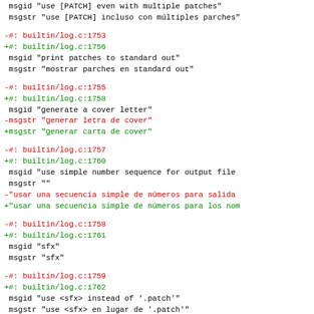msgid "use [PATCH] even with multiple patches"
 msgstr "use [PATCH] incluso con múltiples parches"
-#: builtin/log.c:1753
+#: builtin/log.c:1756
 msgid "print patches to standard out"
 msgstr "mostrar parches en standard out"
-#: builtin/log.c:1755
+#: builtin/log.c:1758
 msgid "generate a cover letter"
-msgstr "generar letra de cover"
+msgstr "generar carta de cover"
-#: builtin/log.c:1757
+#: builtin/log.c:1760
 msgid "use simple number sequence for output file"
 msgstr ""
-"usar una secuencia simple de números para salida
+"usar una secuencia simple de números para los nom
-#: builtin/log.c:1758
+#: builtin/log.c:1761
 msgid "sfx"
 msgstr "sfx"
-#: builtin/log.c:1759
+#: builtin/log.c:1762
 msgid "use <sfx> instead of '.patch'"
 msgstr "use <sfx> en lugar de '.patch'"